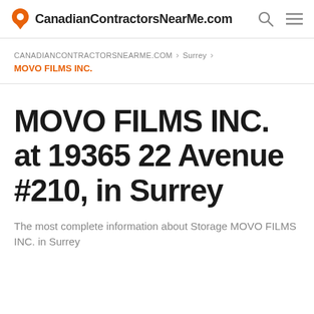CanadianContractorsNearMe.com
CANADIANCONTRACTORSNEARME.COM > Surrey > MOVO FILMS INC.
MOVO FILMS INC. at 19365 22 Avenue #210, in Surrey
The most complete information about Storage MOVO FILMS INC. in Surrey